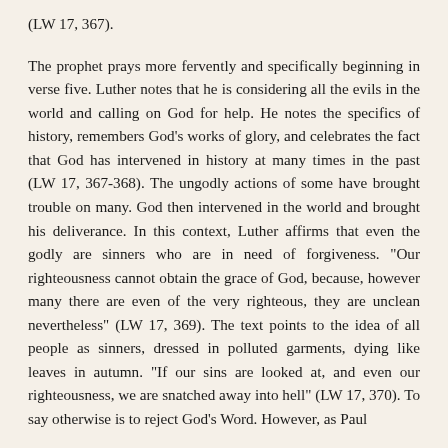(LW 17, 367).
The prophet prays more fervently and specifically beginning in verse five. Luther notes that he is considering all the evils in the world and calling on God for help. He notes the specifics of history, remembers God’s works of glory, and celebrates the fact that God has intervened in history at many times in the past (LW 17, 367-368). The ungodly actions of some have brought trouble on many. God then intervened in the world and brought his deliverance. In this context, Luther affirms that even the godly are sinners who are in need of forgiveness. “Our righteousness cannot obtain the grace of God, because, however many there are even of the very righteous, they are unclean nevertheless” (LW 17, 369). The text points to the idea of all people as sinners, dressed in polluted garments, dying like leaves in autumn. “If our sins are looked at, and even our righteousness, we are snatched away into hell” (LW 17, 370). To say otherwise is to reject God’s Word. However, as Paul